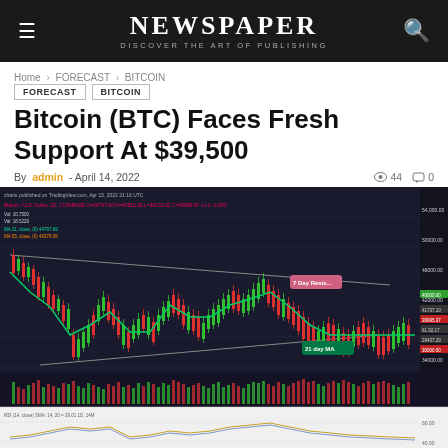NEWSPAPER — DISCOVER THE ART OF PUBLISHING
Home › FORECAST › BITCOIN
FORECAST   BITCOIN
Bitcoin (BTC) Faces Fresh Support At $39,500
By admin - April 14, 2022   👁 44   💬 0
[Figure (continuous-plot): BTC/USD daily candlestick chart from TradingView showing Bitcoin price action with resistance and support levels, 21-day MA line, and RSI indicator at the bottom. Price ranges roughly from $30,000 to $47,000. Chart includes red/green candlesticks, a downward-sloping resistance trendline and an upward-sloping support trendline, a green 21-day MA curve, a pink 'Resistance' label around $40,000-$42,000, a green 'Support' label around $39,500, and price labels on the right axis.]